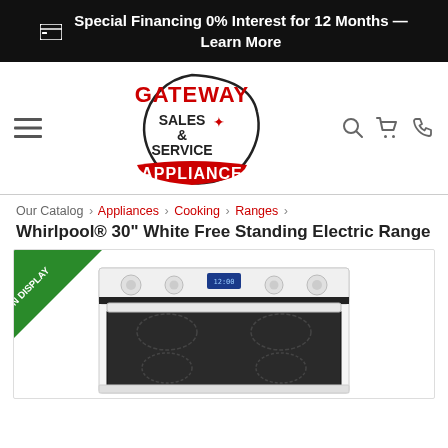Special Financing 0% Interest for 12 Months — Learn More
[Figure (logo): Gateway Appliance Sales & Service logo — red text 'GATEWAY' arched above, black text 'SALES & SERVICE', red text 'APPLIANCE' on a banner, outline of Illinois state in background]
Our Catalog › Appliances › Cooking › Ranges ›
Whirlpool® 30" White Free Standing Electric Range
[Figure (photo): White Whirlpool 30-inch free standing electric range with smooth glass cooktop and digital display. An 'ON DISPLAY' green diagonal badge is in the top-left corner of the product image frame.]